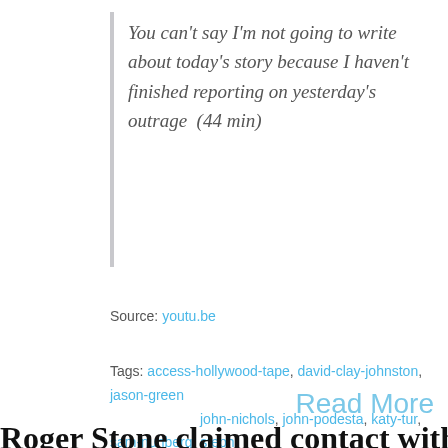You can't say I'm not going to write about today's story because I haven't finished reporting on yesterday's outrage  (44 min)
Source: youtu.be
Tags: access-hollywood-tape, david-clay-johnston, jason-green, john-nichols, john-podesta, katy-tur, sam-nunberg, steph bannon, wikileaks
Read More
Roger Stone claimed contact with